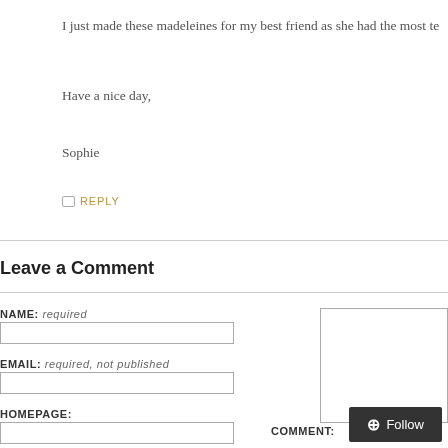I just made these madeleines for my best friend as she had the most te
Have a nice day,
Sophie
REPLY
Leave a Comment
NAME: required
EMAIL: required, not published
HOMEPAGE:
COMMENT: